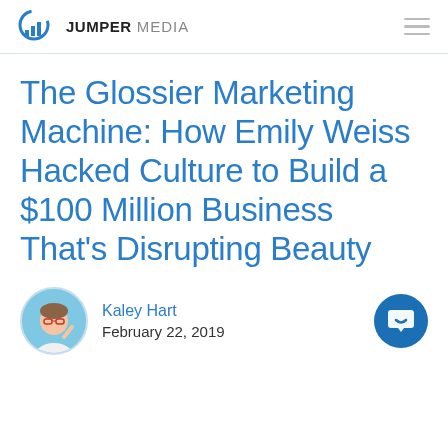JUMPER MEDIA
The Glossier Marketing Machine: How Emily Weiss Hacked Culture to Build a $100 Million Business That’s Disrupting Beauty
Kaley Hart
February 22, 2019